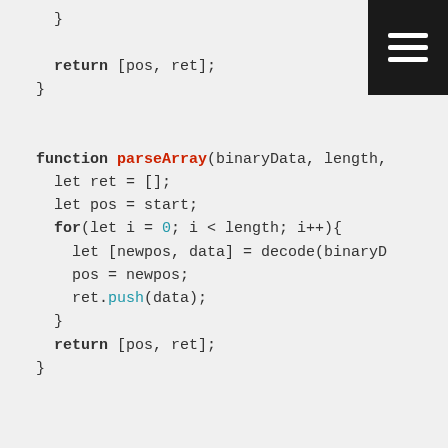[Figure (screenshot): Code snippet showing JavaScript function parseArray with syntax highlighting. Top portion shows closing brace and return statement, followed by function definition and body with for loop, decode call, push method, and return statement.]